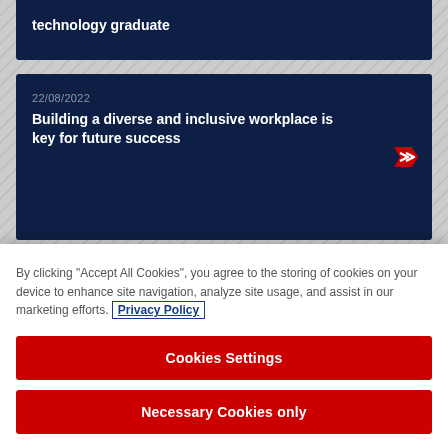technology graduate
22/08/2022
Building a diverse and inclusive workplace is key for future success
22/08/2022
Mothers who assume limited liability...
By clicking "Accept All Cookies", you agree to the storing of cookies on your device to enhance site navigation, analyze site usage, and assist in our marketing efforts. Privacy Policy
Cookies Settings
Necessary Cookies only